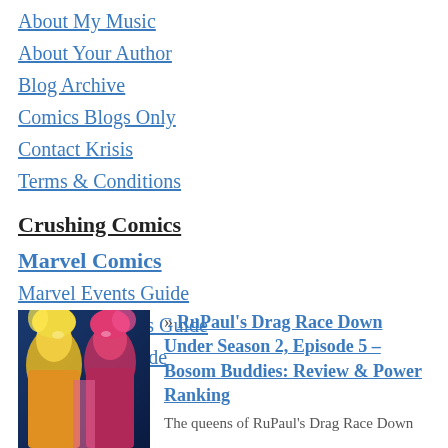About My Music
About Your Author
Blog Archive
Comics Blogs Only
Contact Krisis
Terms & Conditions
Crushing Comics
Marvel Comics
Marvel Events Guide
Marvel Omnibus Guide
Spider-Man Guide
DC Comics
[Figure (photo): Photo of drag queens in colorful costumes]
» RuPaul's Drag Race Down Under Season 2, Episode 5 – Bosom Buddies: Review & Power Ranking
The queens of RuPaul's Drag Race Down